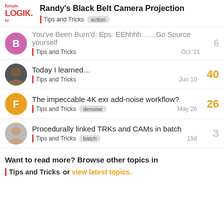Randy's Black Belt Camera Projection | Tips and Tricks | action
You've Been Burn'd: Eps. EEhhhh……Go Source yourself | Tips and Tricks | Oct '21 | replies: 6
Today I learned… | Tips and Tricks | Jun 10 | replies: 40
The impeccable 4K exr add-noise workflow? | Tips and Tricks | denoise | May 26 | replies: 26
Procedurally linked TRKs and CAMs in batch | Tips and Tricks | batch | 15d | replies: 3
Want to read more? Browse other topics in Tips and Tricks or view latest topics.